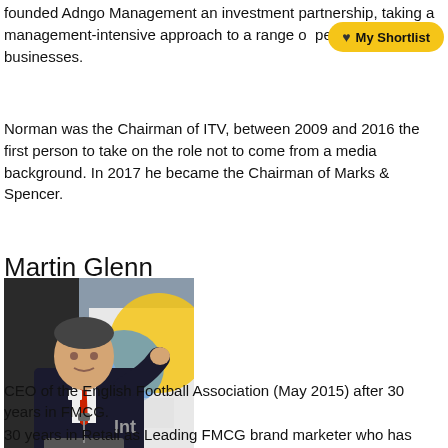founded Adngo Management an investment partnership, taking a management-intensive approach to a range of performing retail businesses.
Norman was the Chairman of ITV, between 2009 and 2016 the first person to take on the role not to come from a media background. In 2017 he became the Chairman of Marks & Spencer.
Martin Glenn
[Figure (photo): Photo of Martin Glenn, a man in a dark suit with red tie, speaking at a podium in front of a banner.]
CEO of the English Football Association (May 2015) after 30 years in FMCG.
30 years in Retail as Leading FMCG brand marketer who has